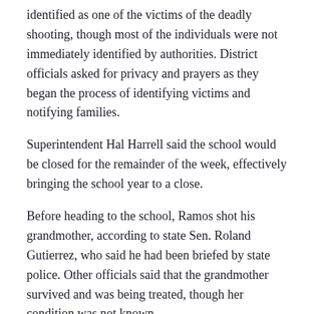identified as one of the victims of the deadly shooting, though most of the individuals were not immediately identified by authorities. District officials asked for privacy and prayers as they began the process of identifying victims and notifying families.
Superintendent Hal Harrell said the school would be closed for the remainder of the week, effectively bringing the school year to a close.
Before heading to the school, Ramos shot his grandmother, according to state Sen. Roland Gutierrez, who said he had been briefed by state police. Other officials said that the grandmother survived and was being treated, though her condition was not known.
List: The most deadly US mass school shootings